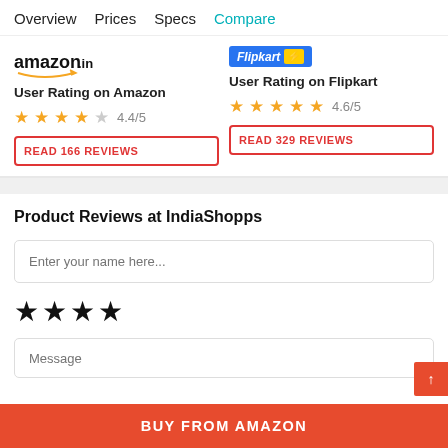Overview  Prices  Specs  Compare
User Rating on Amazon
User Rating on Flipkart
4.4/5
READ 166 REVIEWS
4.6/5
READ 329 REVIEWS
Product Reviews at IndiaShopps
Enter your name here...
Message
BUY FROM AMAZON